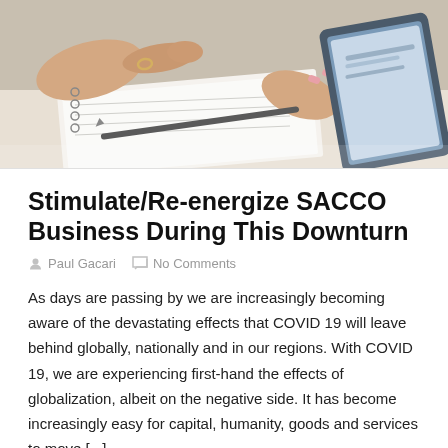[Figure (photo): Close-up photo of hands pointing at a document/notebook with a pen, another person holding a tablet in background]
Stimulate/Re-energize SACCO Business During This Downturn
Paul Gacari   No Comments
As days are passing by we are increasingly becoming aware of the devastating effects that COVID 19 will leave behind globally, nationally and in our regions. With COVID 19, we are experiencing first-hand the effects of globalization, albeit on the negative side. It has become increasingly easy for capital, humanity, goods and services to move [...]